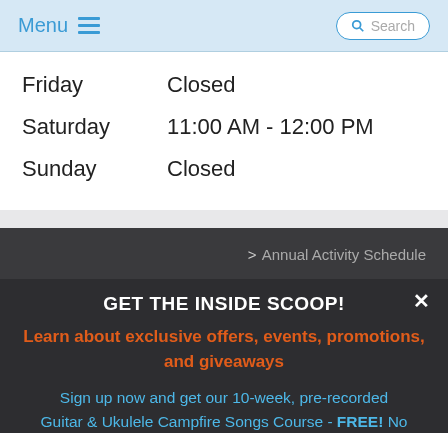Menu  Search
| Day | Hours |
| --- | --- |
| Friday | Closed |
| Saturday | 11:00 AM - 12:00 PM |
| Sunday | Closed |
> Annual Activity Schedule
GET THE INSIDE SCOOP!
Learn about exclusive offers, events, promotions, and giveaways
Sign up now and get our 10-week, pre-recorded Guitar & Ukulele Campfire Songs Course - FREE! No